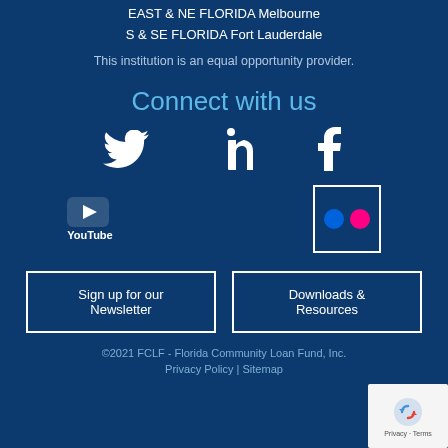EAST & NE FLORIDA Melbourne
S & SE FLORIDA Fort Lauderdale
This institution is an equal opportunity provider.
Connect with us
[Figure (logo): Social media icons: Twitter, LinkedIn, Facebook, YouTube, Flickr]
Sign up for our Newsletter
Downloads & Resources
©2021 FCLF - Florida Community Loan Fund, Inc.
Privacy Policy | Sitemap